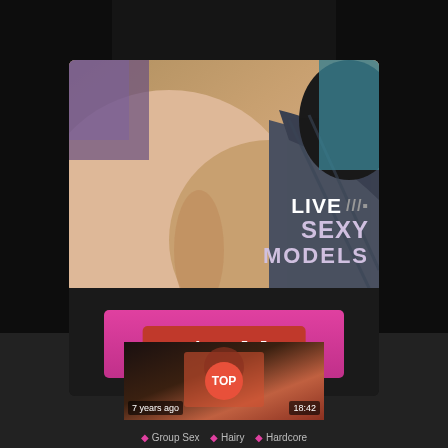[Figure (screenshot): Adult advertisement popup overlay on a dark background. The popup shows a promotional banner with text 'LIVE SEXY MODELS', a pink button reading 'FREE 120 CREDITS', and a red 'Close [X]' button. Below the popup is a video thumbnail with 'TOP' badge, timestamp '18:42', '7 years ago' label, and tags 'Group Sex', 'Hairy', 'Hardcore'.]